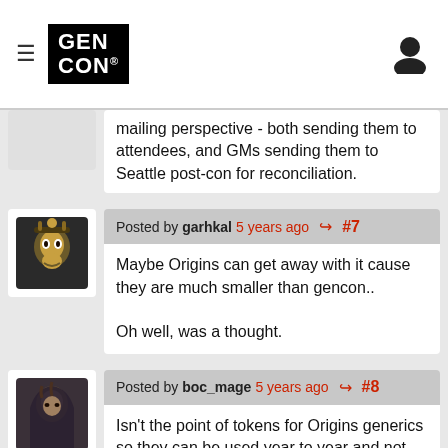Gen Con
mailing perspective - both sending them to attendees, and GMs sending them to Seattle post-con for reconciliation.
Posted by garhkal 5 years ago #7
Maybe Origins can get away with it cause they are much smaller than gencon..

Oh well, was a thought.
Posted by boc_mage 5 years ago #8
Isn't the point of tokens for Origins generics so they can be used year to year and not expire like paper does (if not turned back in by